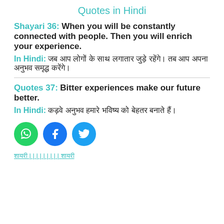Quotes in Hindi
Shayari 36: When you will be constantly connected with people. Then you will enrich your experience.
In Hindi: जब आप लोगों के साथ लगातार जुड़े रहेंगे। तब आप अपना अनुभव समृद्ध करेंगे।
Quotes 37: Bitter experiences make our future better.
In Hindi: कड़वे अनुभव हमारे भविष्य को बेहतर बनाते हैं।
[Figure (illustration): Social sharing icons: WhatsApp (green circle), Facebook (blue circle), Twitter (light blue circle)]
शायरी | | | | | | | | | शायरी